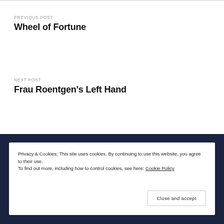PREVIOUS POST
Wheel of Fortune
NEXT POST
Frau Roentgen's Left Hand
Privacy & Cookies: This site uses cookies. By continuing to use this website, you agree to their use.
To find out more, including how to control cookies, see here: Cookie Policy
Close and accept